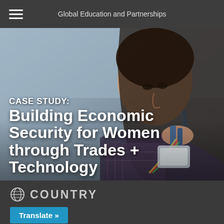Global Education and Partnerships
[Figure (photo): Young woman closely examining electronic wiring and components, working with pliers and circuit boards. Background is blurred industrial/lab setting.]
CASE STUDY: Building Economic Security for Women through Trades + Technology
COUNTRY
Translate »